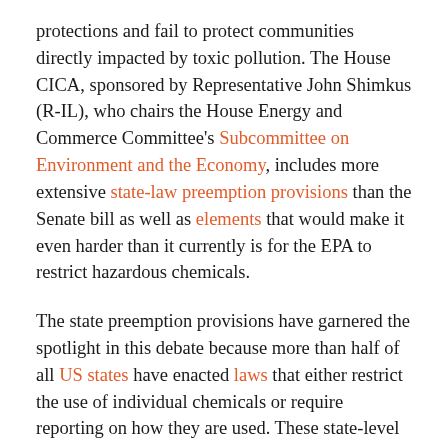protections and fail to protect communities directly impacted by toxic pollution. The House CICA, sponsored by Representative John Shimkus (R-IL), who chairs the House Energy and Commerce Committee's Subcommittee on Environment and the Economy, includes more extensive state-law preemption provisions than the Senate bill as well as elements that would make it even harder than it currently is for the EPA to restrict hazardous chemicals.
The state preemption provisions have garnered the spotlight in this debate because more than half of all US states have enacted laws that either restrict the use of individual chemicals or require reporting on how they are used. These state-level actions have come in response to growing scientific evidence of potential adverse health effects of numerous widely used chemicals, and how difficult TSCA makes it for the EPA to restrict chemical use. The CICA would preempt such regulations, prevent states from acting